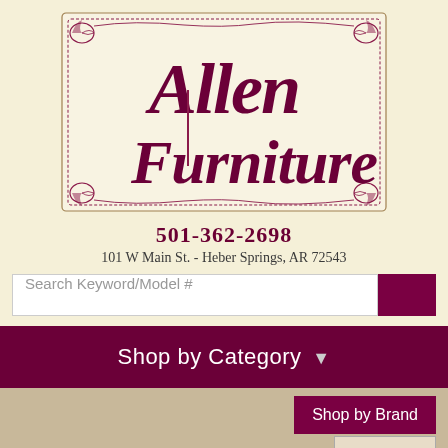[Figure (logo): Allen Furniture store logo with decorative scrollwork border on cream background, featuring script text 'Allen Furniture' in dark burgundy/maroon color]
501-362-2698
101 W Main St. - Heber Springs, AR 72543
Search Keyword/Model #
Shop by Category
Shop by Brand